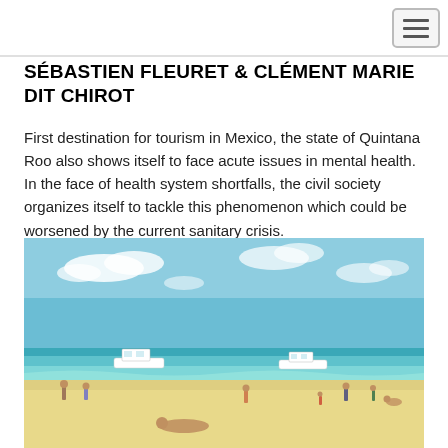SÉBASTIEN FLEURET & CLÉMENT MARIE DIT CHIROT
First destination for tourism in Mexico, the state of Quintana Roo also shows itself to face acute issues in mental health. In the face of health system shortfalls, the civil society organizes itself to tackle this phenomenon which could be worsened by the current sanitary crisis.
[Figure (photo): Beach scene in Quintana Roo, Mexico. Turquoise water, white sand beach with people, two white motorboats anchored near shore, blue sky with scattered clouds.]